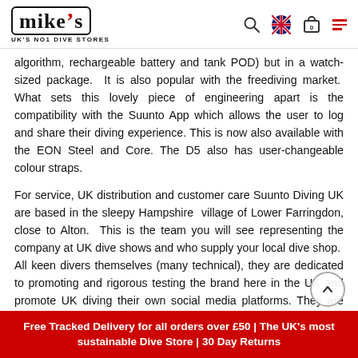mike's - UK'S NO1 DIVE STORES
algorithm, rechargeable battery and tank POD) but in a watch-sized package. It is also popular with the freediving market. What sets this lovely piece of engineering apart is the compatibility with the Suunto App which allows the user to log and share their diving experience. This is now also available with the EON Steel and Core. The D5 also has user-changeable colour straps.
For service, UK distribution and customer care Suunto Diving UK are based in the sleepy Hampshire village of Lower Farringdon, close to Alton. This is the team you will see representing the company at UK dive shows and who supply your local dive shop. All keen divers themselves (many technical), they are dedicated to promoting and rigorous testing the brand here in the UK and promote UK diving their own social media platforms. They are also the UK
Free Tracked Delivery for all orders over £50 | The UK's most sustainable Dive Store | 30 Day Returns